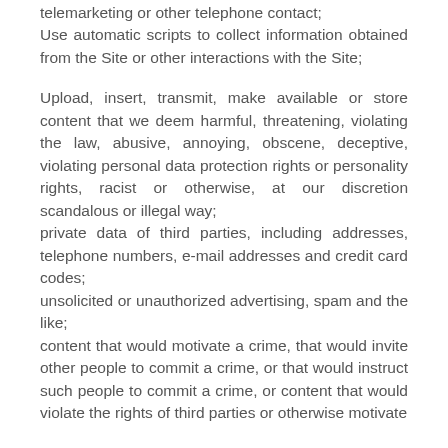telemarketing or other telephone contact;
Use automatic scripts to collect information obtained from the Site or other interactions with the Site;
Upload, insert, transmit, make available or store content that we deem harmful, threatening, violating the law, abusive, annoying, obscene, deceptive, violating personal data protection rights or personality rights, racist or otherwise, at our discretion scandalous or illegal way;
private data of third parties, including addresses, telephone numbers, e-mail addresses and credit card codes;
unsolicited or unauthorized advertising, spam and the like;
content that would motivate a crime, that would invite other people to commit a crime, or that would instruct such people to commit a crime, or content that would violate the rights of third parties or otherwise motivate